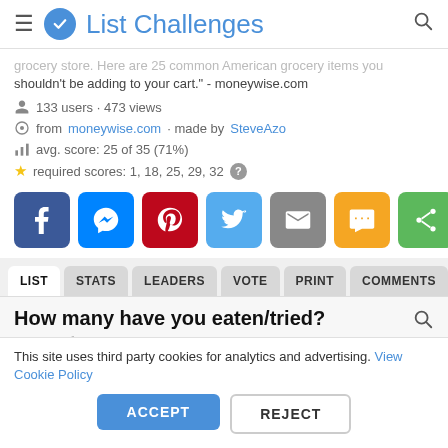List Challenges
grocery store. Here are 25 common American grocery items you shouldn't be adding to your cart." - moneywise.com
133 users · 473 views
from moneywise.com · made by SteveAzo
avg. score: 25 of 35 (71%)
required scores: 1, 18, 25, 29, 32
[Figure (other): Social share buttons: Facebook, Messenger, Pinterest, Twitter, Email, SMS, Share]
LIST
STATS
LEADERS
VOTE
PRINT
COMMENTS
How many have you eaten/tried?
Page 1 of 1
This site uses third party cookies for analytics and advertising. View Cookie Policy
ACCEPT  REJECT